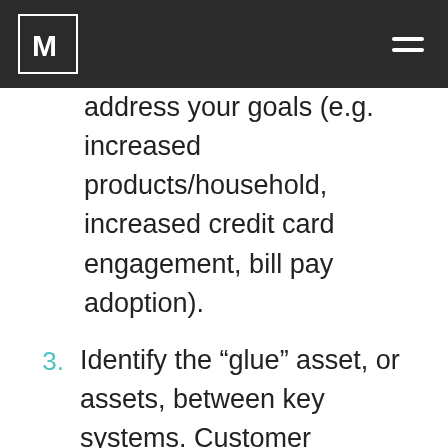M [logo] [hamburger menu]
address your goals (e.g. increased products/household, increased credit card engagement, bill pay adoption).
3. Identify the “glue” asset, or assets, between key systems. Customer numbers, Social Security or ITIN numbers, card numbers, IP addresses, and email addresses are common glues.
4. Identify the data or file language